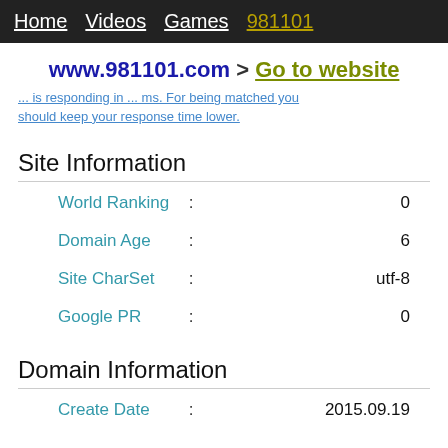Home  Videos  Games  981101
www.981101.com > Go to website
... is responding in ... ms. For being matched you should keep your response time lower.
Site Information
|  | : |  |
| --- | --- | --- |
| World Ranking | : | 0 |
| Domain Age | : | 6 |
| Site CharSet | : | utf-8 |
| Google PR | : | 0 |
Domain Information
|  | : |  |
| --- | --- | --- |
| Create Date | : | 2015.09.19 |